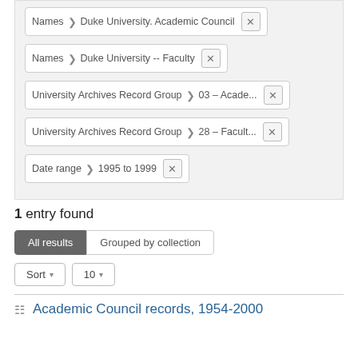Names > Duke University. Academic Council ✕
Names > Duke University -- Faculty ✕
University Archives Record Group > 03 -- Acade... ✕
University Archives Record Group > 28 -- Facult... ✕
Date range > 1995 to 1999 ✕
1 entry found
All results | Grouped by collection
Sort ▾  10 ▾
Academic Council records, 1954-2000